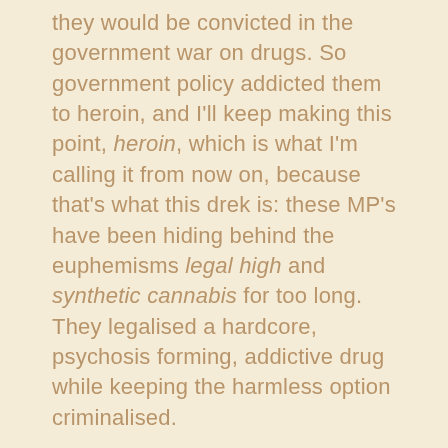they would be convicted in the government war on drugs. So government policy addicted them to heroin, and I'll keep making this point, heroin, which is what I'm calling it from now on, because that's what this drek is: these MP's have been hiding behind the euphemisms legal high and synthetic cannabis for too long. They legalised a hardcore, psychosis forming, addictive drug while keeping the harmless option criminalised.
And then much worse. Because it's election year, and Campbell Live has been